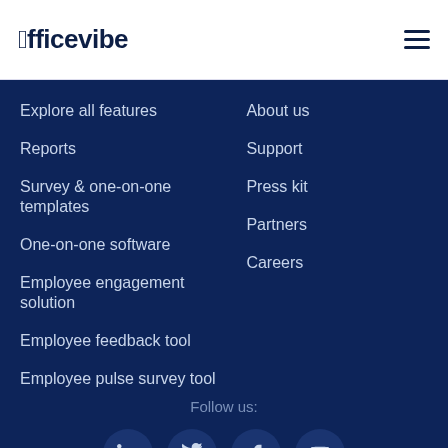[Figure (logo): Officevibe logo with tilde over the o]
Explore all features
Reports
Survey & one-on-one templates
One-on-one software
Employee engagement solution
Employee feedback tool
Employee pulse survey tool
About us
Support
Press kit
Partners
Careers
Follow us:
[Figure (illustration): Social media icons: LinkedIn, Twitter, Facebook, YouTube in dark blue circles]